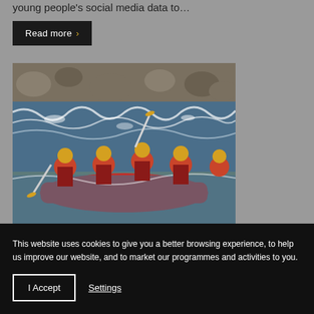young people's social media data to…
Read more >
[Figure (photo): Group of people white water rafting in a river, wearing yellow helmets and red life vests, paddling through rapids]
This website uses cookies to give you a better browsing experience, to help us improve our website, and to market our programmes and activities to you.
I Accept
Settings